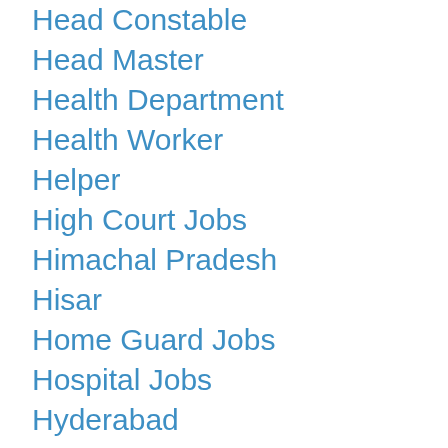Head Constable
Head Master
Health Department
Health Worker
Helper
High Court Jobs
Himachal Pradesh
Hisar
Home Guard Jobs
Hospital Jobs
Hyderabad
IIT Jobs
Indian Navy Jobs